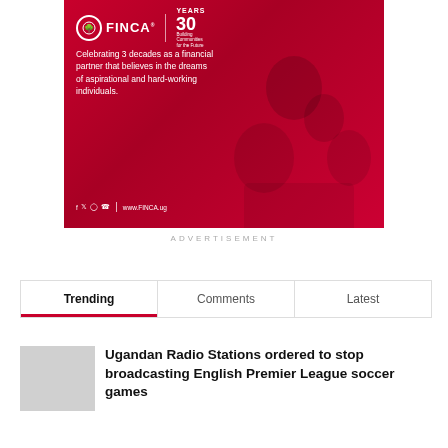[Figure (photo): FINCA advertisement banner on red background. Features FINCA logo with tree icon, '30 years Building Communities for the Future' badge, text reading 'Celebrating 3 decades as a financial partner that believes in the dreams of aspirational and hard-working individuals.' Social media icons and www.FINCA.ug. People smiling on the right side.]
ADVERTISEMENT
Trending	Comments	Latest
Ugandan Radio Stations ordered to stop broadcasting English Premier League soccer games